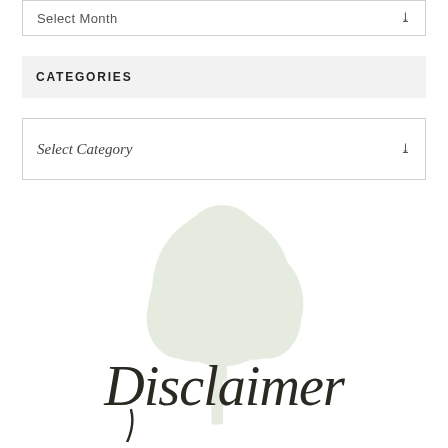Select Month
CATEGORIES
Select Category
[Figure (logo): A faded light green tree illustration overlaid with cursive script reading 'Disclaimer']